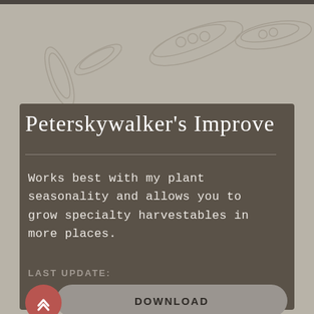Peterskywalker's Improve
Works best with my plant seasonality and allows you to grow specialty harvestables in more places.
LAST UPDATE:
DOWNLOAD